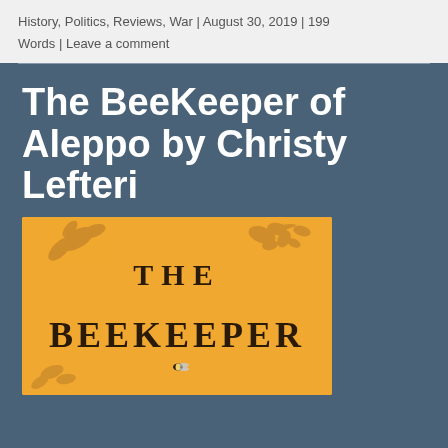History, Politics, Reviews, War | August 30, 2019 | 199 Words | Leave a comment
The BeeKeeper of Aleppo by Christy Lefteri
[Figure (illustration): Book cover of 'The Beekeeper of Aleppo' with golden/amber background, floral and bird illustrations, and bold text reading 'THE BEEKEEPER']